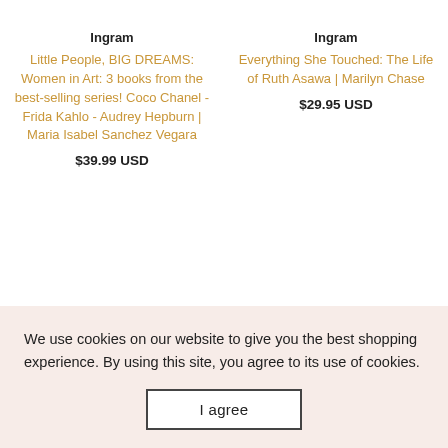Ingram
Little People, BIG DREAMS: Women in Art: 3 books from the best-selling series! Coco Chanel - Frida Kahlo - Audrey Hepburn | Maria Isabel Sanchez Vegara
$39.99 USD
Ingram
Everything She Touched: The Life of Ruth Asawa | Marilyn Chase
$29.95 USD
We use cookies on our website to give you the best shopping experience. By using this site, you agree to its use of cookies.
I agree